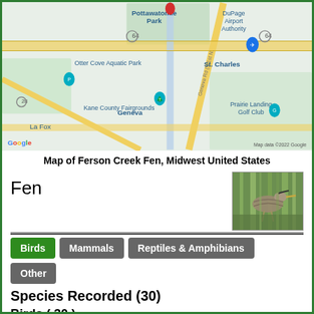[Figure (map): Google Map showing Ferson Creek Fen area near St. Charles, Illinois, with landmarks including Pottawatomie Park, Otter Cove Aquatic Park, Kane County Fairgrounds, Geneva, La Fox, Prairie Landing Golf Club, and DuPage Airport Authority. A red location pin is visible near Pottawatomie Park.]
Map of Ferson Creek Fen, Midwest United States
Fen
[Figure (photo): Photo of a bird (appears to be a heron or similar bird) perched among green foliage/reeds.]
Birds | Mammals | Reptiles & Amphibians | Other
Species Recorded (30)
Birds ( 30 )
Herons ( Ardeidae )
Great Blue Heron - Ardea herodias